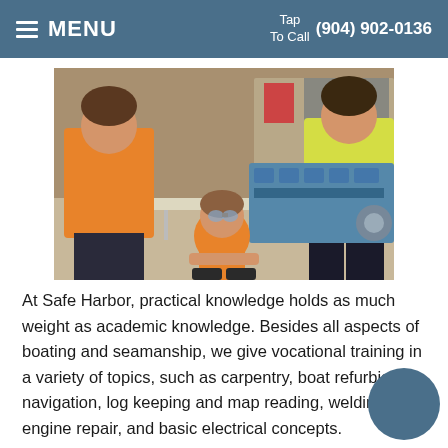MENU  Tap To Call  (904) 902-0136
[Figure (photo): Students working on a boat engine in a workshop setting. One student wearing orange shirt crouches near a large blue engine block while others stand around it.]
At Safe Harbor, practical knowledge holds as much weight as academic knowledge. Besides all aspects of boating and seamanship, we give vocational training in a variety of topics, such as carpentry, boat refurbishing, navigation, log keeping and map reading, welding, engine repair, and basic electrical concepts.
Normal high school takes place year-round and can be accelerated, letting students catch up wherever they may